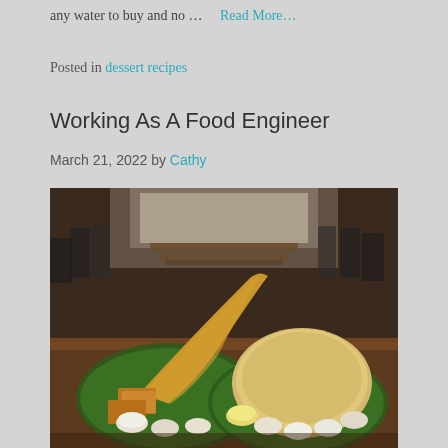any water to buy and no …  Read More…
Posted in dessert recipes
Working As A Food Engineer
March 21, 2022 by Cathy
[Figure (photo): A restaurant dining room with long wooden tables and dark chairs visible in the background. In the foreground, two large round plates on a wooden table, each lined with banana leaves and served with Indian food: one plate has a large dosa extending across the table, accompaniments in small metal cups, and fried items; the other plate has a large puffed bread (poori/bhatura) with multiple side dishes in small bowls arranged around the plate.]